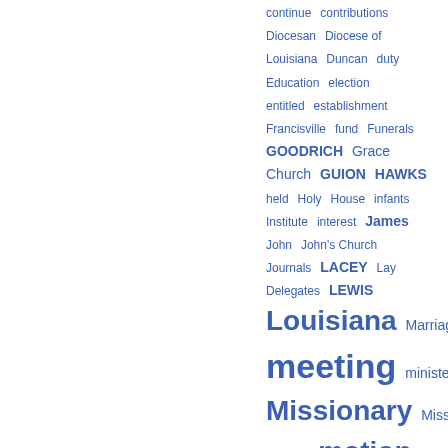[Figure (other): Tag cloud index terms in blue, alphabetically ordered, with varying font sizes indicating frequency: continue, contributions, Diocesan, Diocese of Louisiana, Duncan, duty, Education, election, entitled, establishment, Francisville, fund, Funerals, GOODRICH, Grace Church, GUION, HAWKS, held, Holy, House, infants, Institute, interest, James, John, John's Church, Journals, LACEY, Lay Delegates, LEWIS, Louisiana (large), Marriages, meeting (very large), minister, Missionary (large), Missions, morning, motion (large), names, Natchitoches, organized]